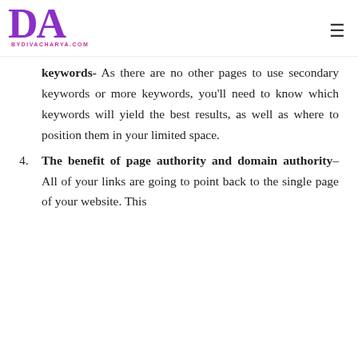BYDIVACHARYA.COM
keywords- As there are no other pages to use secondary keywords or more keywords, you'll need to know which keywords will yield the best results, as well as where to position them in your limited space.
4. The benefit of page authority and domain authority– All of your links are going to point back to the single page of your website. This